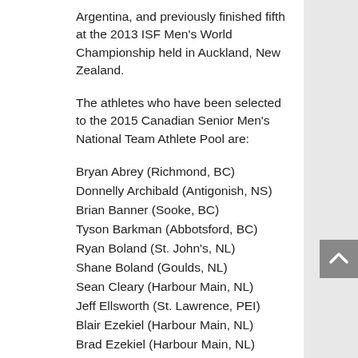Argentina, and previously finished fifth at the 2013 ISF Men's World Championship held in Auckland, New Zealand.
The athletes who have been selected to the 2015 Canadian Senior Men's National Team Athlete Pool are:
Bryan Abrey (Richmond, BC)
Donnelly Archibald (Antigonish, NS)
Brian Banner (Sooke, BC)
Tyson Barkman (Abbotsford, BC)
Ryan Boland (St. John's, NL)
Shane Boland (Goulds, NL)
Sean Cleary (Harbour Main, NL)
Jeff Ellsworth (St. Lawrence, PEI)
Blair Ezekiel (Harbour Main, NL)
Brad Ezekiel (Harbour Main, NL)
Jeff Farion (Saskatoon, SK)
Ian Fehrman (Townsend, ON)